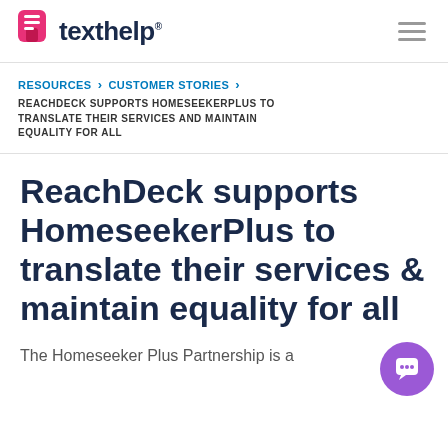texthelp
RESOURCES > CUSTOMER STORIES > REACHDECK SUPPORTS HOMESEEKERPLUS TO TRANSLATE THEIR SERVICES AND MAINTAIN EQUALITY FOR ALL
ReachDeck supports HomeseekerPlus to translate their services & maintain equality for all
The Homeseeker Plus Partnership is a